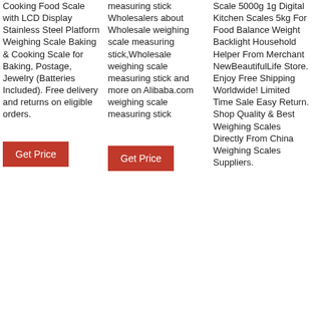Cooking Food Scale with LCD Display Stainless Steel Platform Weighing Scale Baking & Cooking Scale for Baking, Postage, Jewelry (Batteries Included). Free delivery and returns on eligible orders.
Get Price
measuring stick Wholesalers about Wholesale weighing scale measuring stick,Wholesale weighing scale measuring stick and more on Alibaba.com weighing scale measuring stick
Get Price
Scale 5000g 1g Digital Kitchen Scales 5kg For Food Balance Weight Backlight Household Helper From Merchant NewBeautifulLife Store. Enjoy Free Shipping Worldwide! Limited Time Sale Easy Return. Shop Quality & Best Weighing Scales Directly From China Weighing Scales Suppliers.